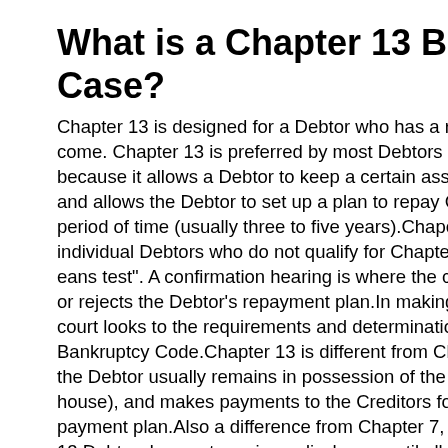bankruptcy.
What is a Chapter 13 Bankruptcy Case?
Chapter 13 is designed for a Debtor who has a regular source of income. Chapter 13 is preferred by most Debtors over Chapter 7 because it allows a Debtor to keep a certain asset (usually a house), and allows the Debtor to set up a plan to repay Creditors over a period of time (usually three to five years).Chapter 13 is also used by individual Debtors who do not qualify for Chapter 7 under the "means test". A confirmation hearing is where the court either approves or rejects the Debtor's repayment plan.In making its decision, the court looks to the requirements and determination under the U.S. Bankruptcy Code.Chapter 13 is different from Chapter 7 because the Debtor usually remains in possession of the assets (usually the house), and makes payments to the Creditors for the duration of the payment plan.Also a difference from Chapter 7, is that the Chapter 13 Debtor does not receive a discharge until all the payments required under the plan have been made.One other advantage is that the discharge under Chapter 13 is broader than under Chapter 7 (ie. more debts are eliminated).
What is a Chapter 11 Bankruptcy Case?
Chapter 11 is normally used by commercial enterprises that wish to continue operating a business and repay Creditors through a debt repayment plan approved by the bankruptcy court.